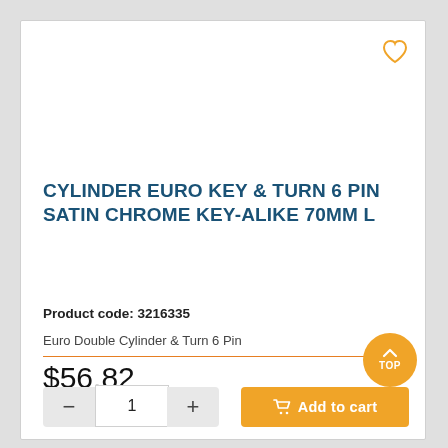CYLINDER EURO KEY & TURN 6 PIN SATIN CHROME KEY-ALIKE 70MM L
Product code: 3216335
Euro Double Cylinder & Turn 6 Pin
$56.82
Includes GST